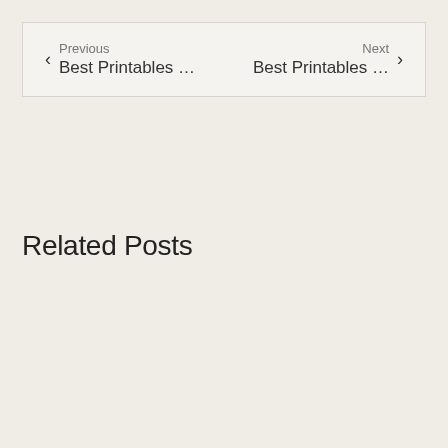Previous Best Printables … Next Best Printables …
Related Posts